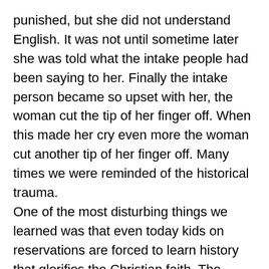punished, but she did not understand English. It was not until sometime later she was told what the intake people had been saying to her. Finally the intake person became so upset with her, the woman cut the tip of her finger off. When this made her cry even more the woman cut another tip of her finger off. Many times we were reminded of the historical trauma. One of the most disturbing things we learned was that even today kids on reservations are forced to learn history that glorifies the Christian faith. The people running these boarding schools were part of the Christian faith and the Europeans who came to the New World and set up a government that would do these sorts of things. If this sounds like these things were happening a long time ago, remember it wasn't until the